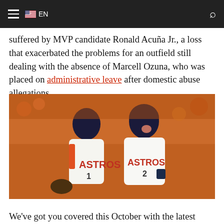≡ 🇺🇸 EN  🔍
suffered by MVP candidate Ronald Acuña Jr., a loss that exacerbated the problems for an outfield still dealing with the absence of Marcell Ozuna, who was placed on administrative leave after domestic abuse allegations.
[Figure (photo): Two Houston Astros baseball players celebrating, wearing white Astros uniforms with numbers 1 and 2, on a baseball field with an orange crowd in the background.]
We've got you covered this October with the latest